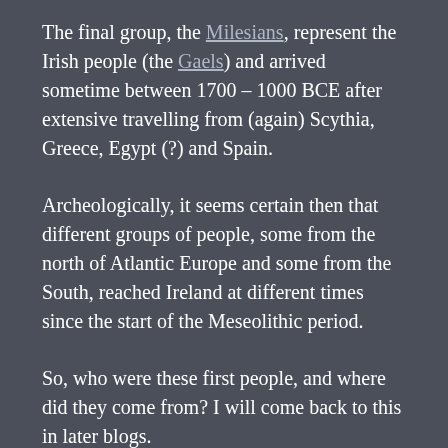The final group, the Milesians, represent the Irish people (the Gaels) and arrived sometime between 1700 – 1000 BCE after extensive travelling from (again) Scythia, Greece, Egypt (?) and Spain.
Archeologically, it seems certain then that different groups of people, some from the north of Atlantic Europe and some from the South, reached Ireland at different times since the start of the Meseolithic period.
So, who were these first people, and where did they come from? I will come back to this in later blogs.